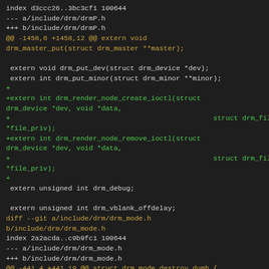index d3ccc26..3bc3cf1 100644
--- a/include/drm/drmP.h
+++ b/include/drm/drmP.h
@@ -1458,6 +1458,12 @@ extern void drm_master_put(struct drm_master **master);

 extern void drm_put_dev(struct drm_device *dev);
 extern int drm_put_minor(struct drm_minor **minor);
+
+extern int drm_render_node_create_ioctl(struct drm_device *dev, void *data,
+                                                 struct drm_file *file_priv);
+extern int drm_render_node_remove_ioctl(struct drm_device *dev, void *data,
+                                                 struct drm_file *file_priv);
+
 extern unsigned int drm_debug;

 extern unsigned int drm_vblank_offdelay;
diff --git a/include/drm/drm_mode.h b/include/drm/drm_mode.h
index 2a2acda..c9b9fc1 100644
--- a/include/drm/drm_mode.h
+++ b/include/drm/drm_mode.h
@@ -441,4 +441,19 @@ struct drm_mode_destroy_dumb {
         uint32_t handle;
 };

+/* render_node_create and remove functions